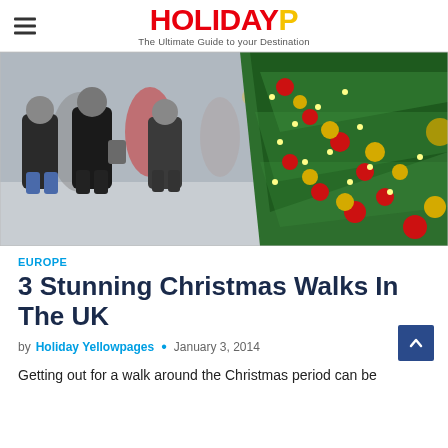HOLIDAYP — The Ultimate Guide to your Destination
[Figure (photo): Christmas street scene: people walking with backs to camera in winter coats, alongside a decorated Christmas tree with red and gold ornaments and string lights, bokeh background]
EUROPE
3 Stunning Christmas Walks In The UK
by Holiday Yellowpages • January 3, 2014
Getting out for a walk around the Christmas period can be